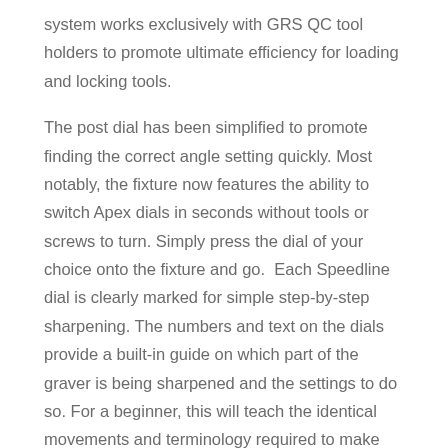system works exclusively with GRS QC tool holders to promote ultimate efficiency for loading and locking tools.
The post dial has been simplified to promote finding the correct angle setting quickly. Most notably, the fixture now features the ability to switch Apex dials in seconds without tools or screws to turn. Simply press the dial of your choice onto the fixture and go.  Each Speedline dial is clearly marked for simple step-by-step sharpening. The numbers and text on the dials provide a built-in guide on which part of the graver is being sharpened and the settings to do so. For a beginner, this will teach the identical movements and terminology required to make custom gravers with the Dual Angle dial.
For an advanced artist, it will create efficient repeatability for faster sharpening. A simple switch to the Dual Angle dial and you can make any graver geometry desired.  Includes: Apex